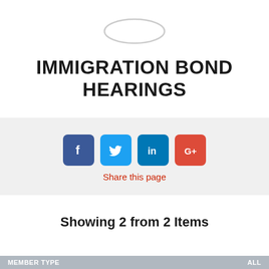[Figure (logo): Oval/ellipse logo outline at top center]
IMMIGRATION BOND HEARINGS
[Figure (infographic): Social sharing buttons: Facebook (blue), Twitter (light blue), LinkedIn (dark blue), Google+ (red), with 'Share this page' label below in red]
Showing 2 from 2 Items
| MEMBER TYPE | ALL |
| --- | --- |